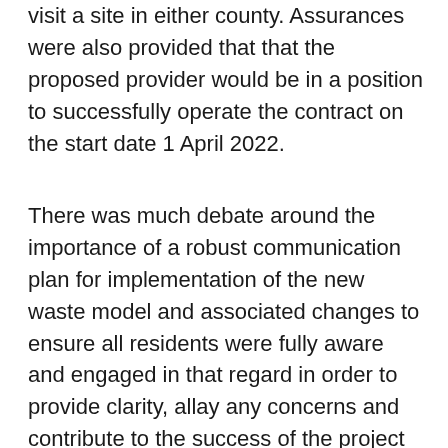visit a site in either county. Assurances were also provided that that the proposed provider would be in a position to successfully operate the contract on the start date 1 April 2022.
There was much debate around the importance of a robust communication plan for implementation of the new waste model and associated changes to ensure all residents were fully aware and engaged in that regard in order to provide clarity, allay any concerns and contribute to the success of the project going forward. Councillor Emrys Wynne had some reservations regarding proposals to introduce a charge for DIY and construction waste, and sought clarity over the